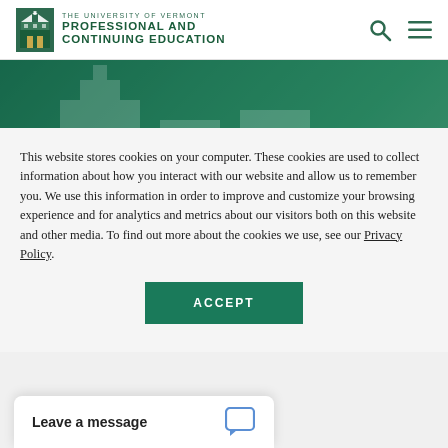THE UNIVERSITY OF VERMONT PROFESSIONAL AND CONTINUING EDUCATION
[Figure (screenshot): UVM Professional and Continuing Education logo with building icon]
INTEGRATIVE HEALTH AND WELLNESS AT UVM
Accelerated Integrative
This website stores cookies on your computer. These cookies are used to collect information about how you interact with our website and allow us to remember you. We use this information in order to improve and customize your browsing experience and for analytics and metrics about our visitors both on this website and other media. To find out more about the cookies we use, see our Privacy Policy.
ACCEPT
Leave a message